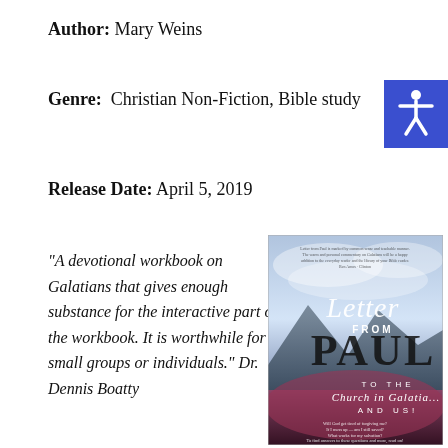Author: Mary Weins
Genre: Christian Non-Fiction, Bible study
Release Date: April 5, 2019
“A devotional workbook on Galatians that gives enough substance for the interactive part of the workbook. It is worthwhile for small groups or individuals.” Dr. Dennis Boatty
[Figure (photo): Book cover of 'Letter From Paul To the Church in Galatia... And Us!' showing dramatic sky and mountain scenery with cursive and serif title text]